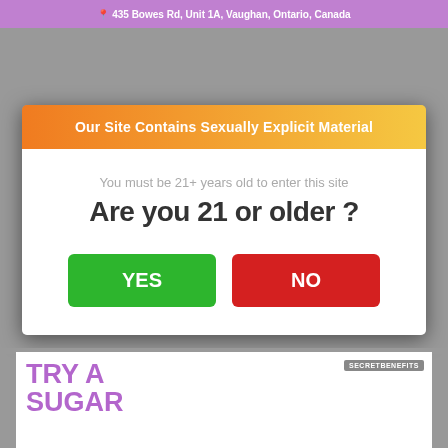[Figure (screenshot): Top banner with address: 435 Bowes Rd, Unit 1A, Vaughan, Ontario, Canada on purple background]
Our Site Contains Sexually Explicit Material
You must be 21+ years old to enter this site
Are you 21 or older ?
YES
NO
[Figure (screenshot): Bottom advertisement banner: TRY A SUGAR ... with SECRETBENEFITS badge]